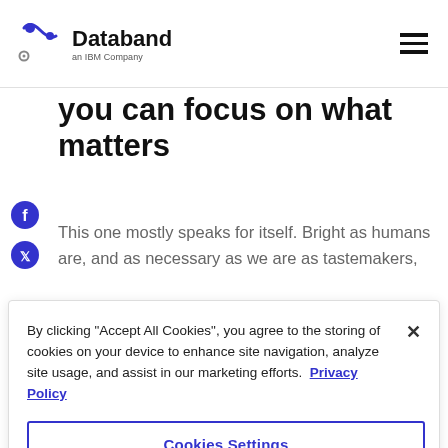Databand an IBM Company
you can focus on what matters
This one mostly speaks for itself. Bright as humans are, and as necessary as we are as tastemakers,
By clicking "Accept All Cookies", you agree to the storing of cookies on your device to enhance site navigation, analyze site usage, and assist in our marketing efforts. Privacy Policy
Cookies Settings
Reject All
Accept All Cookies